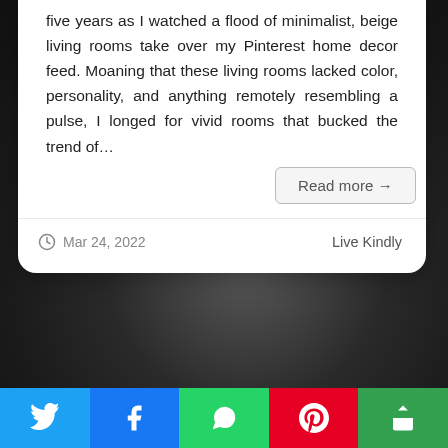five years as I watched a flood of minimalist, beige living rooms take over my Pinterest home decor feed. Moaning that these living rooms lacked color, personality, and anything remotely resembling a pulse, I longed for vivid rooms that bucked the trend of…
Read more →
Mar 24, 2022   Live Kindly
[Figure (screenshot): Dark gradient background (dark gray/black) visible below the article card]
[Figure (infographic): Social share bar with five buttons: Twitter (blue), Facebook (blue), WhatsApp (green), Pinterest (red), More/share (green)]